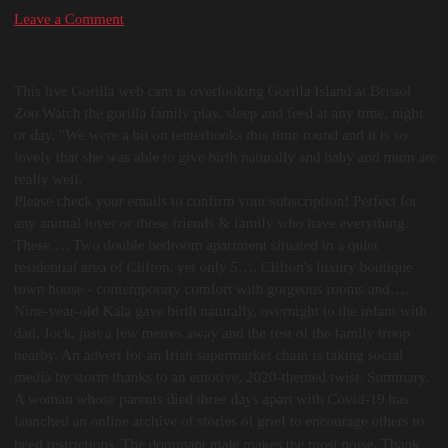Leave a Comment
This live Gorilla web cam is overlooking Gorilla Island at Bristol Zoo Watch the gorilla family play, sleep and feed at any time, night or day. "We were a bit on tenterhooks this time round and it is so lovely that she was able to give birth naturally and baby and mum are really well.
Please check your emails to confirm your subscription! Perfect for any animal lover or those friends & family who have everything. These…, Two double bedroom apartment situated in a quiet residential area of Clifton, yet only 5…, Clifton's luxury boutique town house - contemporary comfort with gorgeous rooms and…. Nine-year-old Kala gave birth naturally, overnight to the infant with dad, Jock, just a few metres away and the rest of the family troop nearby. An advert for an Irish supermarket chain is taking social media by storm thanks to an emotive, 2020-themed twist. Summary. A woman whose parents died three days apart with Covid-19 has launched an online archive of stories of grief to encourage others to heed restrictions. The dominant male makes the most noise. Thank you for your feedback. More recently in August 2020, Kala gave birth to the seventh member of the troop! Here we look at the latest figures and key dates in the ongoing Brexit process. You can see how much the keepers enjoy their jobs . We have lighter bite options in our coffee shack such as…